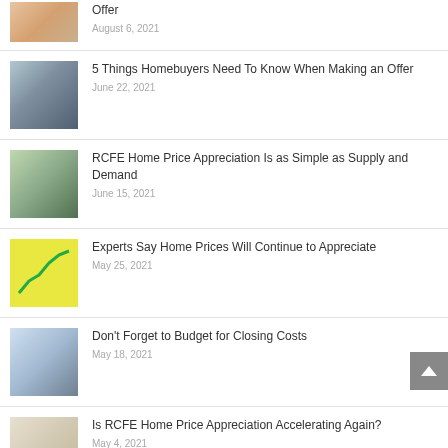Offer
August 6, 2021
5 Things Homebuyers Need To Know When Making an Offer
June 22, 2021
RCFE Home Price Appreciation Is as Simple as Supply and Demand
June 15, 2021
Experts Say Home Prices Will Continue to Appreciate
May 25, 2021
Don't Forget to Budget for Closing Costs
May 18, 2021
Is RCFE Home Price Appreciation Accelerating Again?
May 4, 2021